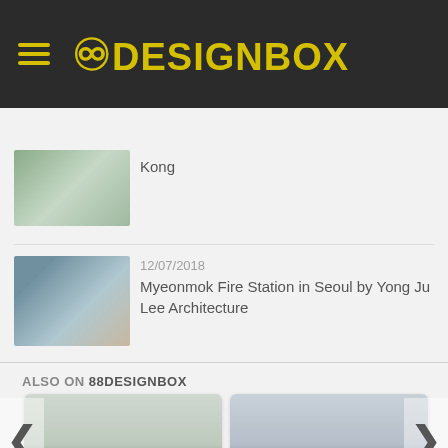88DESIGNBOX
[Figure (photo): Thumbnail photo of a street scene with trees and buildings in Hong Kong]
Kong
[Figure (photo): Thumbnail photo of Myeonmok Fire Station in Seoul — modern building with lattice facade]
12/07/2018
Myeonmok Fire Station in Seoul by Yong Ju Lee Architecture
ALSO ON 88DESIGNBOX
[Figure (photo): Card image for Sorenson Center For The Arts article, gray gradient placeholder]
rs ago • 1 comment
Sorenson Center For The Arts by
[Figure (photo): Card image for Inter Crop Office by Stu/D/O article, gray gradient placeholder]
3 years ago • 1 comment
Inter Crop Office by Stu/D/O Architecture